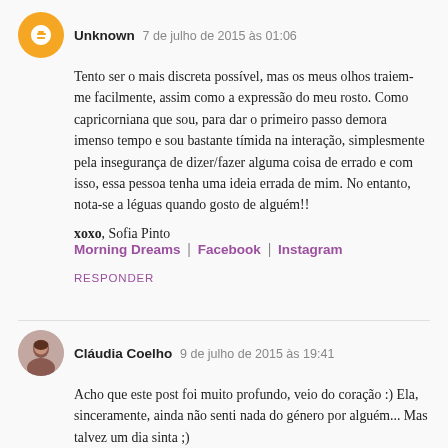Unknown  7 de julho de 2015 às 01:06
Tento ser o mais discreta possível, mas os meus olhos traiem-me facilmente, assim como a expressão do meu rosto. Como capricorniana que sou, para dar o primeiro passo demora imenso tempo e sou bastante tímida na interação, simplesmente pela insegurança de dizer/fazer alguma coisa de errado e com isso, essa pessoa tenha uma ideia errada de mim. No entanto, nota-se a léguas quando gosto de alguém!!
xoxo, Sofia Pinto
Morning Dreams | Facebook | Instagram
RESPONDER
Cláudia Coelho  9 de julho de 2015 às 19:41
Acho que este post foi muito profundo, veio do coração :) Ela, sinceramente, ainda não senti nada do género por alguém... Mas talvez um dia sinta ;)
Beijos